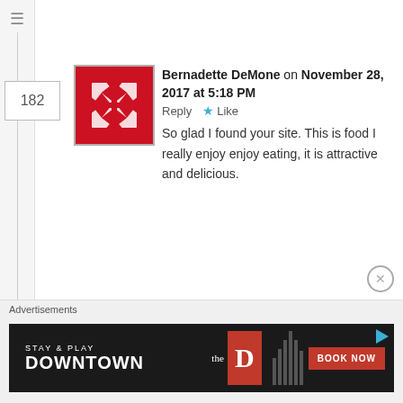Bernadette DeMone on November 28, 2017 at 5:18 PM   Reply  ★ Like
So glad I found your site. This is food I really enjoy enjoy eating, it is attractive and delicious.
G on December 2, 2017 at 6:57 AM   Reply  ★ Like
Sawsan
Thank u for recipe. Love labne had when I was in Israel. Never knew was so easy to make. I like mine on toast w jam too.
Advertisements
[Figure (screenshot): Advertisement banner: STAY & PLAY DOWNTOWN, the D Las Vegas, BOOK NOW]